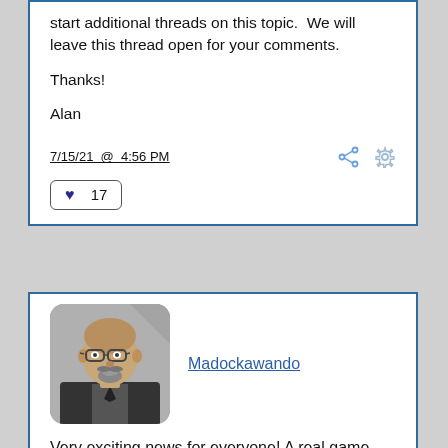start additional threads on this topic.  We will leave this thread open for your comments.

Thanks!

Alan
7/15/21  @  4:56 PM
17
Madockawando
Very exciting news for everyone! A real game changer for the hobby!